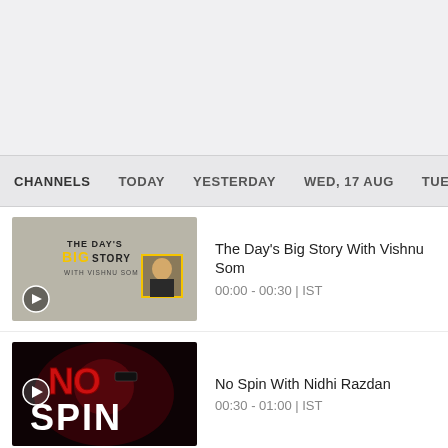CHANNELS   TODAY   YESTERDAY   WED, 17 AUG   TUE, 16 AU
[Figure (screenshot): Thumbnail for 'The Day's Big Story With Vishnu Som' — grey background with text 'THE DAY'S BIG STORY WITH VISHNU SOM' and a portrait photo]
The Day's Big Story With Vishnu Som
00:00 - 00:30 | IST
[Figure (screenshot): Thumbnail for 'No Spin With Nidhi Razdan' — dark background with red NO SPIN text logo]
No Spin With Nidhi Razdan
00:30 - 01:00 | IST
[Figure (screenshot): Thumbnail for 'News' — blue globe graphic with NEWS text in large blue letters]
News
01:00 - 01:30 | IST